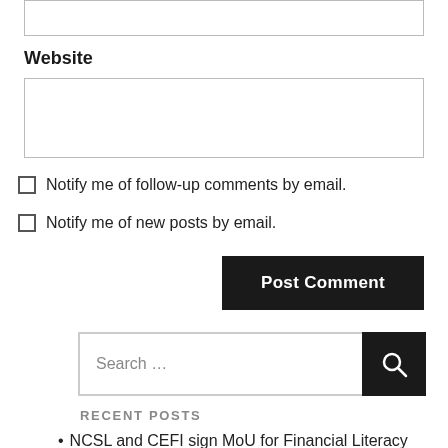Website
Notify me of follow-up comments by email.
Notify me of new posts by email.
Post Comment
Search …
RECENT POSTS
NCSL and CEFI sign MoU for Financial Literacy Training